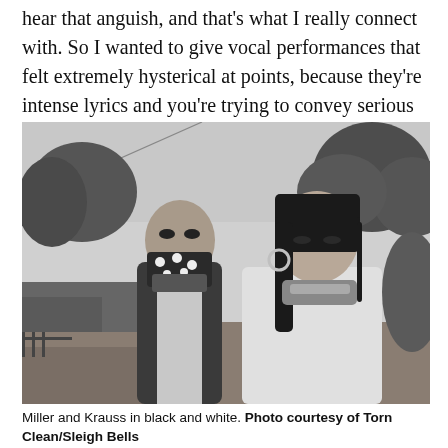hear that anguish, and that's what I really connect with. So I wanted to give vocal performances that felt extremely hysterical at points, because they're intense lyrics and you're trying to convey serious emotions.
[Figure (photo): Black and white photograph of two people standing outdoors. On the left, a person wearing a dark jacket and a polka-dot bandana or scarf covering their face. On the right, a woman with dark bangs wearing a white shirt and a scarf around her neck. Trees are visible in the background.]
Miller and Krauss in black and white. Photo courtesy of Torn Clean/Sleigh Bells